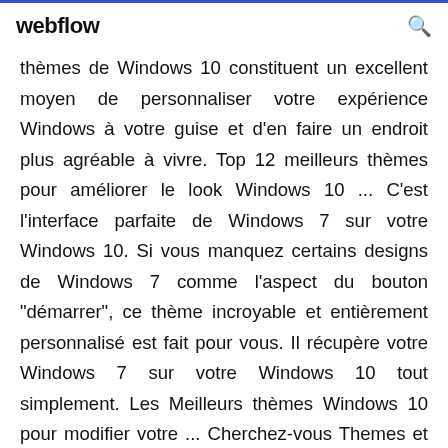webflow
thèmes de Windows 10 constituent un excellent moyen de personnaliser votre expérience Windows à votre guise et d'en faire un endroit plus agréable à vivre. Top 12 meilleurs thèmes pour améliorer le look Windows 10 ... C'est l'interface parfaite de Windows 7 sur votre Windows 10. Si vous manquez certains designs de Windows 7 comme l'aspect du bouton "démarrer", ce thème incroyable et entièrement personnalisé est fait pour vous. Il récupère votre Windows 7 sur votre Windows 10 tout simplement. Les Meilleurs thèmes Windows 10 pour modifier votre ... Cherchez-vous Themes et Skins pour Windows 10? Ensuite, vous êtes dans le bon